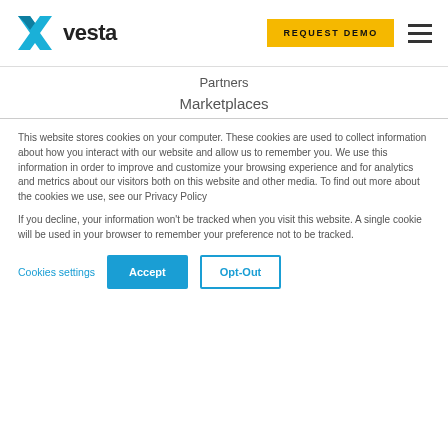vesta | REQUEST DEMO
Partners
Marketplaces
This website stores cookies on your computer. These cookies are used to collect information about how you interact with our website and allow us to remember you. We use this information in order to improve and customize your browsing experience and for analytics and metrics about our visitors both on this website and other media. To find out more about the cookies we use, see our Privacy Policy
If you decline, your information won't be tracked when you visit this website. A single cookie will be used in your browser to remember your preference not to be tracked.
Cookies settings | Accept | Opt-Out